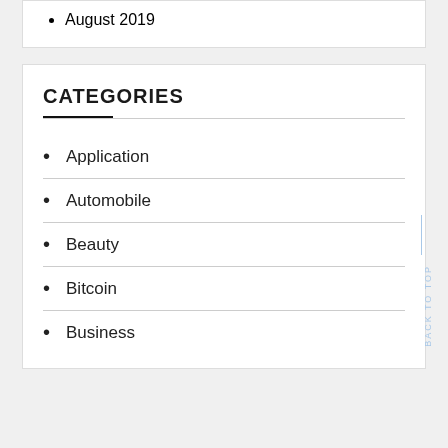August 2019
CATEGORIES
Application
Automobile
Beauty
Bitcoin
Business